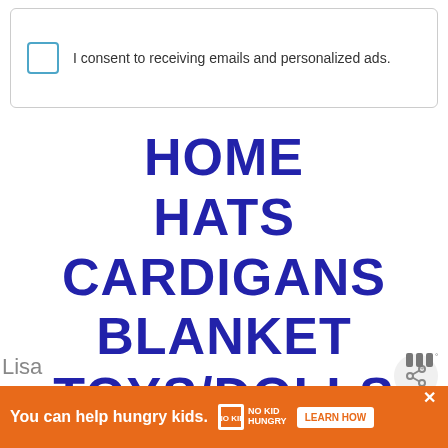I consent to receiving emails and personalized ads.
HOME
HATS
CARDIGANS
BLANKET
TOYS/DOLLS
BAGS
HEADBANDS
[Figure (other): Share button icon]
WHAT'S NEXT → How to Crochet a 3d...
You can help hungry kids.
LEARN HOW
Lisa